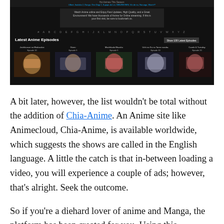[Figure (screenshot): Screenshot of an anime streaming website (Chia-Anime style) showing a dark-themed page with navigation links, alphabet index, 'Latest Anime Episodes' section with 5 anime thumbnails including Joshikousei no Mudazukai, Given, Machikado Mazoku, Uchi no Ko no Tame naraba, and Carole & Tuesday]
A bit later, however, the list wouldn’t be total without the addition of Chia-Anime. An Anime site like Animecloud, Chia-Anime, is available worldwide, which suggests the shows are called in the English language. A little the catch is that in-between loading a video, you will experience a couple of ads; however, that’s alright. Seek the outcome.
So if you’re a diehard lover of anime and Manga, the platform has been created for you. Using this Animecloud alternative, you can begin figuring out the shows you like according to the various filters provided. Additionally, you also can download